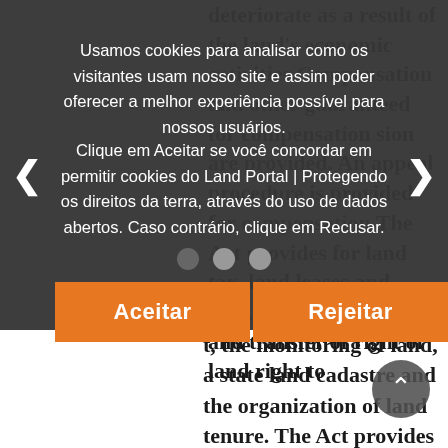deteriorate as a result of the land's economic activities.Compensation and other guaranteed for compensation sion are provided. An appeal procedure is provided for compensation The Act provides for land tax, land leases and rent, the termination and transfer of right of land right to t, the monitoring of land, a state land cadastre and the organization of land tenure. The Act provides civil,
Usamos cookies para analisar como os visitantes usam nosso site e assim poder oferecer a melhor experiência possível para nossos usuários.
Clique em Aceitar se você concordar em permitir cookies do Land Portal | Protegendo os direitos da terra, através do uso de dados abertos. Caso contrário, clique em Recusar.
[Figure (other): Cookie consent modal dialog overlay with dark background, navigation arrows on sides, three dots pagination indicator, and two orange buttons labeled Aceitar and Rejeitar]